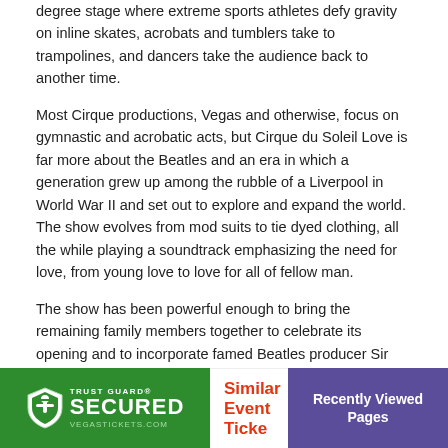degree stage where extreme sports athletes defy gravity on inline skates, acrobats and tumblers take to trampolines, and dancers take the audience back to another time.
Most Cirque productions, Vegas and otherwise, focus on gymnastic and acrobatic acts, but Cirque du Soleil Love is far more about the Beatles and an era in which a generation grew up among the rubble of a Liverpool in World War II and set out to explore and expand the world. The show evolves from mod suits to tie dyed clothing, all the while playing a soundtrack emphasizing the need for love, from young love to love for all of fellow man.
The show has been powerful enough to bring the remaining family members together to celebrate its opening and to incorporate famed Beatles producer Sir George Martin and his son as the musical directors. Cirque du Soleil Love tickets bring together generations of the Beatles family and are as enjoyed by everyday families, with parents who lived during the 1960s and children who grew up listening to the music of the decade and the greatest band of all time.
[Figure (logo): Trust Guard Secured badge with green background and shield icon, vegastickets.com]
Similar Event Ticke
Recently Viewed Pages